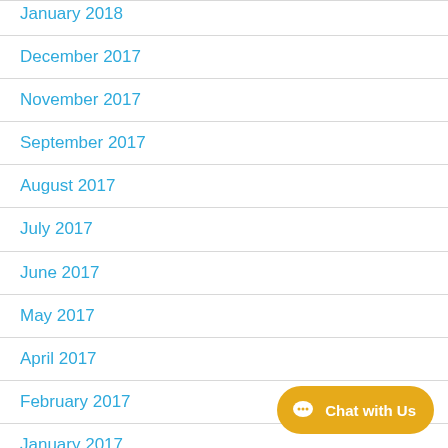January 2018
December 2017
November 2017
September 2017
August 2017
July 2017
June 2017
May 2017
April 2017
February 2017
January 2017